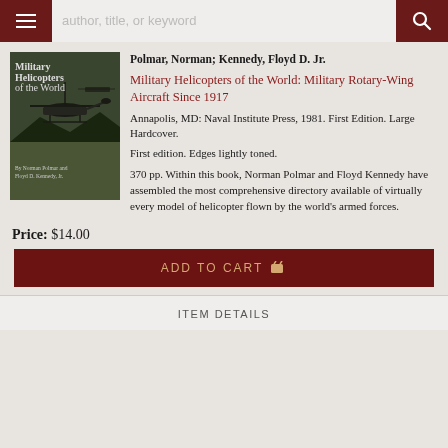author, title, or keyword
[Figure (illustration): Book cover of 'Military Helicopters of the World' showing helicopters in flight against a dark background, by Norman Polmar and Floyd D. Kennedy Jr.]
Polmar, Norman; Kennedy, Floyd D. Jr.
Military Helicopters of the World: Military Rotary-Wing Aircraft Since 1917
Annapolis, MD: Naval Institute Press, 1981. First Edition. Large Hardcover.
First edition. Edges lightly toned.
370 pp. Within this book, Norman Polmar and Floyd Kennedy have assembled the most comprehensive directory available of virtually every model of helicopter flown by the world's armed forces.
Price: $14.00
ADD TO CART
ITEM DETAILS